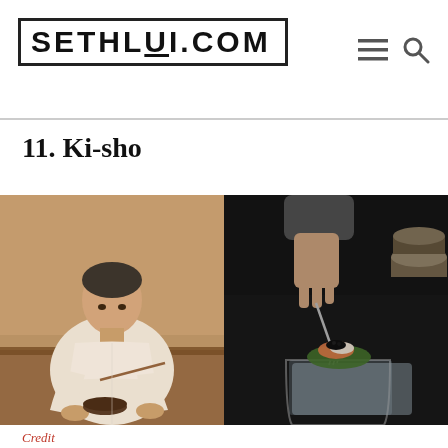SETHLUI.COM
11. Ki-sho
[Figure (photo): Two side-by-side photos: left shows a Japanese chef in white attire working at a counter, right shows a hand using a fork to place caviar on an elegant dish served on ice in a glass bowl.]
Credit